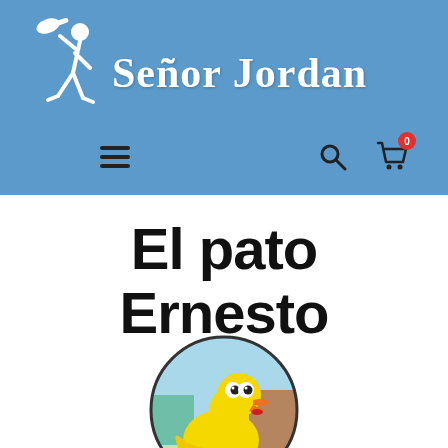[Figure (logo): Señor Jordan website header with blue background, white stick figure logo holding a megaphone/trumpet, and white serif text 'Señor Jordan'. Navigation bar with hamburger menu, search icon, and cart icon with '0' badge.]
El pato Ernesto
[Figure (illustration): Circular illustration of a cartoon duck (Ernesto) with yellow feathers, an orange beak, and big eyes, set against a colorful outdoor background with trees and buildings.]